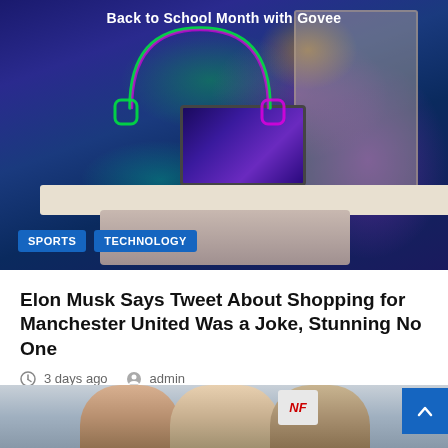[Figure (photo): Gaming room with neon RGB lighting, monitor on desk, bookshelf with purple/pink glow. Text 'Back to School Month with Govee' at top. Category badges: SPORTS, TECHNOLOGY.]
Elon Musk Says Tweet About Shopping for Manchester United Was a Joke, Stunning No One
3 days ago  admin
[Figure (photo): Three people (two men and a woman) smiling, partial NFL logo visible, stadium seating in background.]